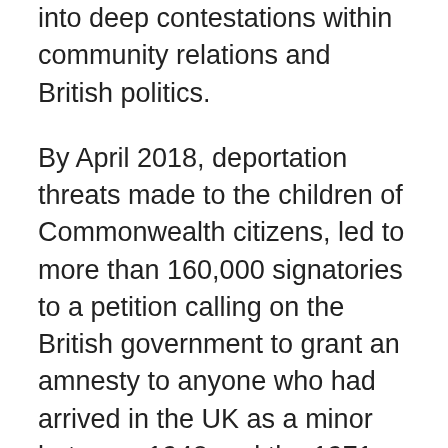into deep contestations within community relations and British politics.
By April 2018, deportation threats made to the children of Commonwealth citizens, led to more than 160,000 signatories to a petition calling on the British government to grant an amnesty to anyone who had arrived in the UK as a minor between 1948 and the 1971 Immigration Act, which changed their status for ever.
This digital verision of a travelling exhibition takes its theme and title from V.S. Naipaul's 1987 novel, The Enigma of Arrival, a commentary of a key moment in Caribbean Migration to the UK and the memory of its